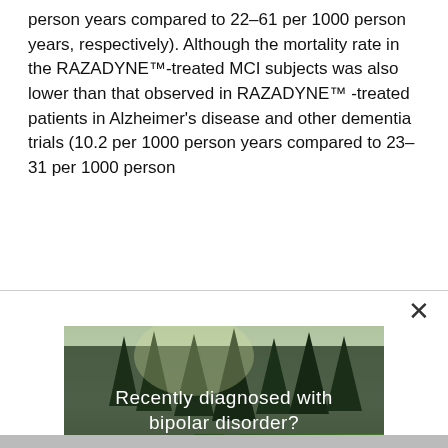person years compared to 22–61 per 1000 person years, respectively). Although the mortality rate in the RAZADYNE™-treated MCI subjects was also lower than that observed in RAZADYNE™ -treated patients in Alzheimer's disease and other dementia trials (10.2 per 1000 person years compared to 23–31 per 1000 person
[Figure (photo): Advertisement photo showing a forest river scene with tall pine trees and green meadow. Text overlay reads: 'Recently diagnosed with bipolar disorder?' and 'DOWNLOAD OUR FREE EBOOK NOW.' with a white underline.]
advertisement